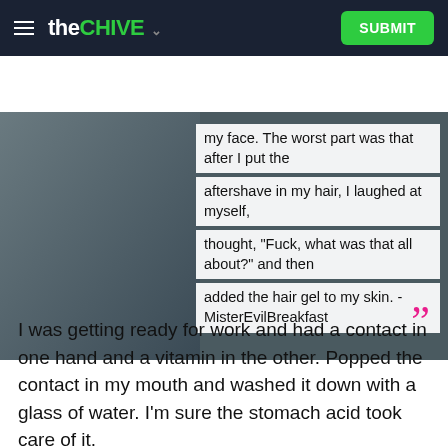the CHIVE  SUBMIT
[Figure (photo): Photo of a young boy holding his face with both hands, with overlaid quote text reading: 'my face. The worst part was that after I put the aftershave in my hair, I laughed at myself, thought, "Fuck, what was that all about?" and then added the hair gel to my skin. - MisterEvilBreakfast']
I was getting ready for work and had a contact in one hand and a vitamin in the other. Popped the contact in my mouth and washed it down with a glass of water. I'm sure the stomach acid took care of it.
Miss_Sangwitch
When I was around 13 or 14 I woke up in the middle of the